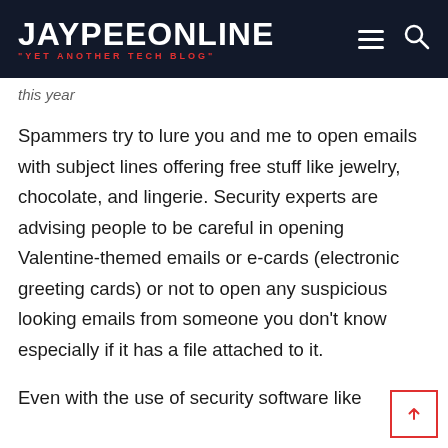JAYPEEONLINE "YET ANOTHER TECH BLOG"
this year
Spammers try to lure you and me to open emails with subject lines offering free stuff like jewelry, chocolate, and lingerie. Security experts are advising people to be careful in opening Valentine-themed emails or e-cards (electronic greeting cards) or not to open any suspicious looking emails from someone you don't know especially if it has a file attached to it.
Even with the use of security software like